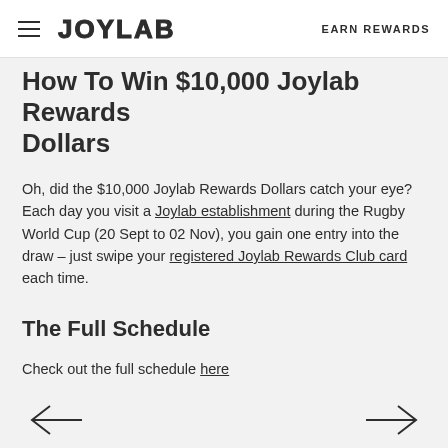JOYLAB | EARN REWARDS
How To Win $10,000 Joylab Rewards Dollars
Oh, did the $10,000 Joylab Rewards Dollars catch your eye? Each day you visit a Joylab establishment during the Rugby World Cup (20 Sept to 02 Nov), you gain one entry into the draw – just swipe your registered Joylab Rewards Club card each time.
The Full Schedule
Check out the full schedule here